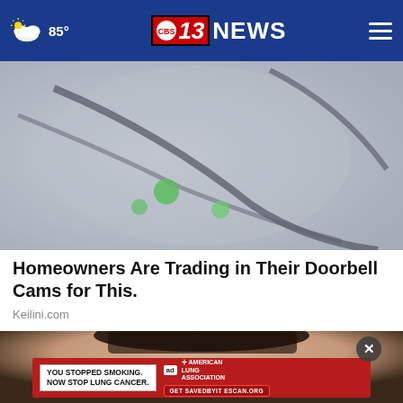85° | CBS 13 NEWS
[Figure (photo): Close-up photo of a doorbell camera device with green LED lights visible on a gray/beige surface]
Homeowners Are Trading in Their Doorbell Cams for This.
Keilini.com
[Figure (photo): Partial photo of a person's face with dark hair, with an advertisement overlay. Ad reads: YOU STOPPED SMOKING. NOW STOP LUNG CANCER. American Lung Association. Get SAVEDBYSC AN.ORG]
YOU STOPPED SMOKING. NOW STOP LUNG CANCER. | American Lung Association | Get SAVEDBYTTE SCAN.ORG